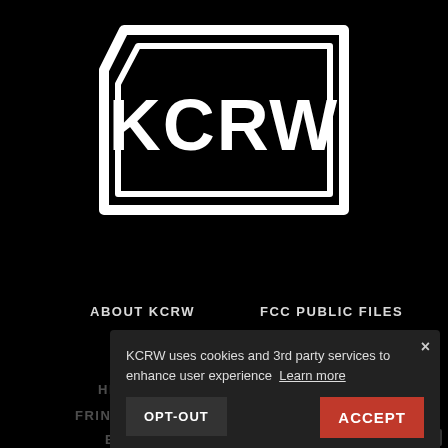[Figure (logo): KCRW logo — white text 'KCRW' inside a stylized white rectangular border/frame on a black background]
ABOUT KCRW
FCC PUBLIC FILES
CONTACT
FCC APPLICATIONS
CAREERS
EEO REPORT
HELP / FAQ
PLEDGE FOR EQUITY
FRINGE BENEFITS
EVENTS
KCRW uses cookies and 3rd party services to enhance user experience  Learn more
OPT-OUT
ACCEPT
Your Privacy